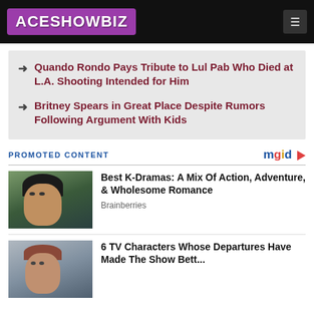ACESHOWBIZ
Quando Rondo Pays Tribute to Lul Pab Who Died at L.A. Shooting Intended for Him
Britney Spears in Great Place Despite Rumors Following Argument With Kids
PROMOTED CONTENT
Best K-Dramas: A Mix Of Action, Adventure, & Wholesome Romance — Brainberries
6 TV Characters Whose Departures Have Made The Show Better